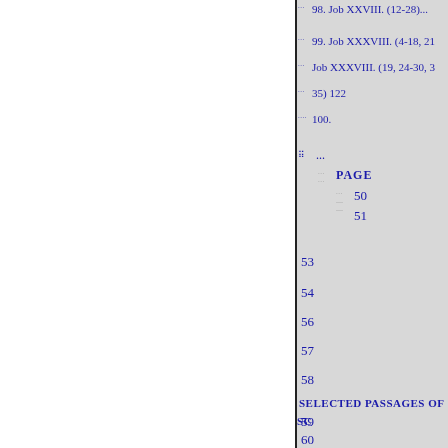98. Job XXVIII. (12-28)...
99. Job XXXVIII. (4-18, 21
Job XXXVIII. (19, 24-30, 3
35) 122
100.
...
PAGE
50
51
53
54
56
57
58
SELECTED PASSAGES OF SC
59
60
61